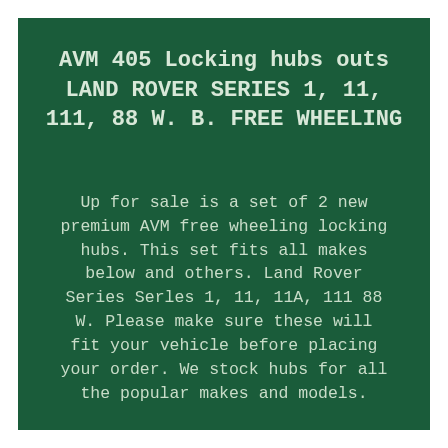AVM 405 Locking hubs outs LAND ROVER SERIES 1, 11, 111, 88 W. B. FREE WHEELING
Up for sale is a set of 2 new premium AVM free wheeling locking hubs. This set fits all makes below and others. Land Rover Series Serles 1, 11, 11A, 111 88 W. Please make sure these will fit your vehicle before placing your order. We stock hubs for all the popular makes and models.